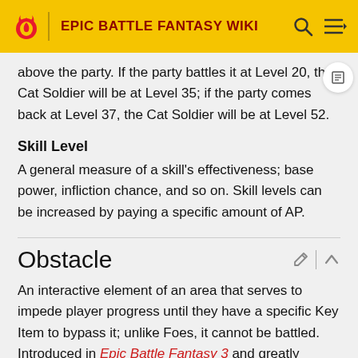EPIC BATTLE FANTASY WIKI
above the party. If the party battles it at Level 20, the Cat Soldier will be at Level 35; if the party comes back at Level 37, the Cat Soldier will be at Level 52.
Skill Level
A general measure of a skill's effectiveness; base power, infliction chance, and so on. Skill levels can be increased by paying a specific amount of AP.
Obstacle
An interactive element of an area that serves to impede player progress until they have a specific Key Item to bypass it; unlike Foes, it cannot be battled. Introduced in Epic Battle Fantasy 3 and greatly expanded upon in